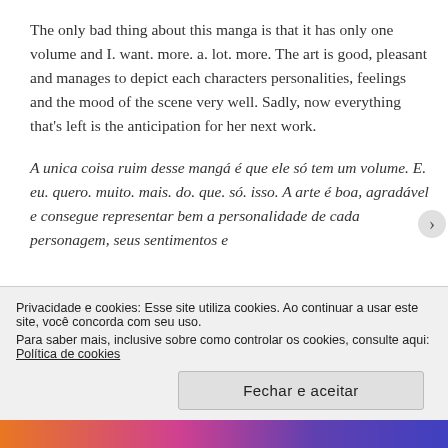The only bad thing about this manga is that it has only one volume and I. want. more. a. lot. more. The art is good, pleasant and manages to depict each characters personalities, feelings and the mood of the scene very well. Sadly, now everything that's left is the anticipation for her next work.
A unica coisa ruim desse mangá é que ele só tem um volume. E. eu. quero. muito. mais. do. que. só. isso. A arte é boa, agradável e consegue representar bem a personalidade de cada personagem, seus sentimentos e
Privacidade e cookies: Esse site utiliza cookies. Ao continuar a usar este site, você concorda com seu uso.
Para saber mais, inclusive sobre como controlar os cookies, consulte aqui:
Política de cookies
Fechar e aceitar